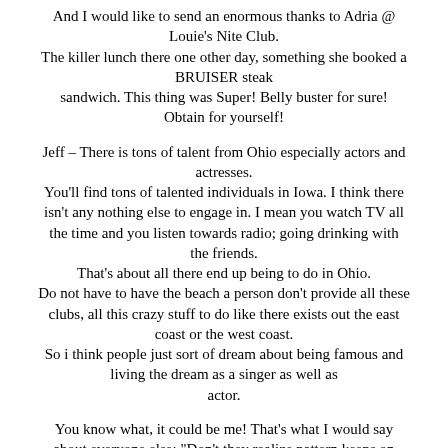And I would like to send an enormous thanks to Adria @ Louie's Nite Club. The killer lunch there one other day, something she booked a BRUISER steak sandwich. This thing was Super! Belly buster for sure! Obtain for yourself!
Jeff – There is tons of talent from Ohio especially actors and actresses. You'll find tons of talented individuals in Iowa. I think there isn't any nothing else to engage in. I mean you watch TV all the time and you listen towards radio; going drinking with the friends. That's about all there end up being to do in Ohio. Do not have to have the beach a person don't provide all these clubs, all this crazy stuff to do like there exists out the east coast or the west coast. So i think people just sort of dream about being famous and living the dream as a singer as well as actor.
You know what, it could be me! That's what I would say about everyone else: "Don't they realize pattern keeps on happening?" It could be me.